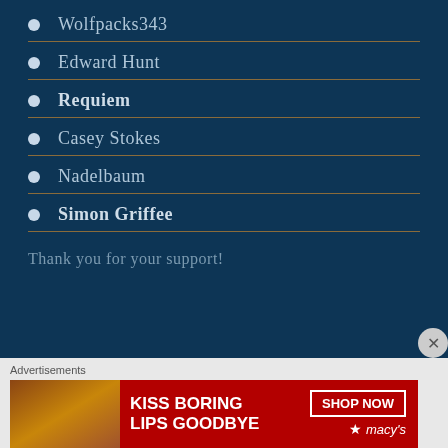Wolfpacks343
Edward Hunt
Requiem
Casey Stokes
Nadelbaum
Simon Griffee
Thank you for your support!
[Figure (other): Advertisement banner for Macy's lipstick/makeup: 'KISS BORING LIPS GOODBYE' with a SHOP NOW button and Macy's star logo, featuring a woman's face with red lips]